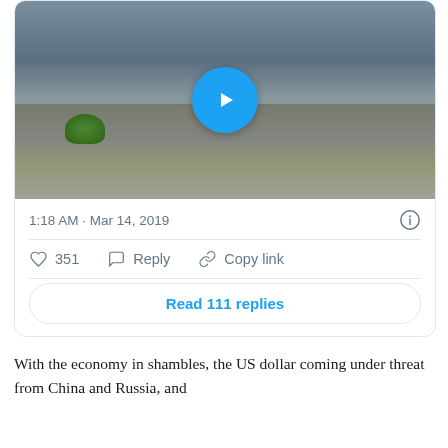[Figure (screenshot): Twitter/X post screenshot showing a video thumbnail of people near a flooded concrete waterway, with a blue play button overlay. Post timestamp: 1:18 AM · Mar 14, 2019. Actions: 351 likes, Reply, Copy link. Button: Read 111 replies.]
With the economy in shambles, the US dollar coming under threat from China and Russia, and